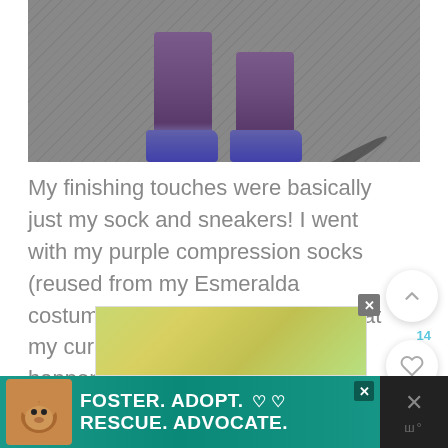[Figure (photo): Photo showing lower legs and feet of a person wearing purple compression socks and purple/blue running sneakers, standing on asphalt pavement with a shadow visible.]
My finishing touches were basically just my sock and sneakers!  I went with my purple compression socks (reused from my Esmeralda costume!).  I was also very lucky that my current running sneakers happened to be green and purple and match my running costume quite well.  Totally not why I bought them...
[Figure (photo): Advertisement image with blurred outdoor/nature background (green bokeh).]
[Figure (photo): Bottom banner advertisement: FOSTER. ADOPT. RESCUE. ADVOCATE. with a dog photo on the left, teal/green background, and a dark section on the right with an X mark.]